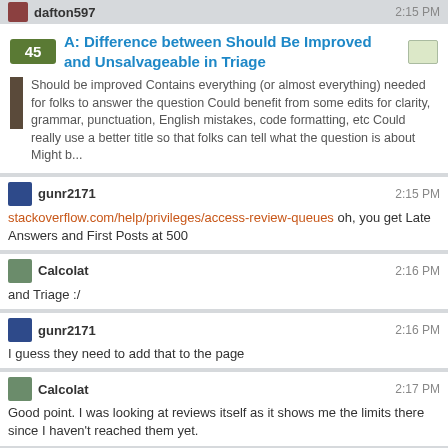dafton597   2:15 PM
[Figure (other): Answer card: score 45, title 'A: Difference between Should Be Improved and Unsalvageable in Triage', preview text about Should be improved, with monkey avatar]
gunr2171   2:15 PM
stackoverflow.com/help/privileges/access-review-queues oh, you get Late Answers and First Posts at 500
Calcolat   2:16 PM
and Triage :/
gunr2171   2:16 PM
I guess they need to add that to the page
Calcolat   2:17 PM
Good point. I was looking at reviews itself as it shows me the limits there since I haven't reached them yet.
cimmanon   2:18 PM
this looks like not an answer to me... but i am wondering if the question should be closed as well (tool request): stackoverflow.com/a/31644296/1652962
NathanOliver   2:18 PM
@gunr2171 think the main problem is SE disagrees with you ...